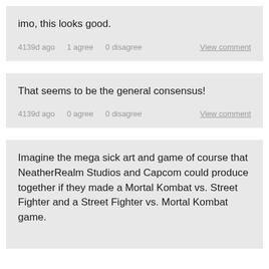imo, this looks good.
4139d ago    1 agree    0 disagree    View comment
That seems to be the general consensus!
4139d ago    0 agree    0 disagree    View comment
Imagine the mega sick art and game of course that NeatherRealm Studios and Capcom could produce together if they made a Mortal Kombat vs. Street Fighter and a Street Fighter vs. Mortal Kombat game.